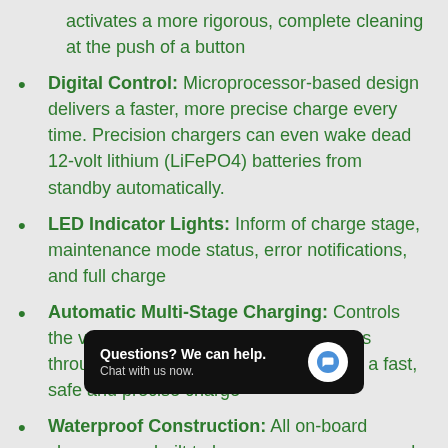activates a more rigorous, complete cleaning at the push of a button
Digital Control: Microprocessor-based design delivers a faster, more precise charge every time. Precision chargers can even wake dead 12-volt lithium (LiFePO4) batteries from standby automatically.
LED Indicator Lights: Inform of charge stage, maintenance mode status, error notifications, and full charge
Automatic Multi-Stage Charging: Controls the voltage and current your battery gets throughout the charging cycle, ensuring a fast, safe and precise charge
Waterproof Construction: All on-board chargers are built to be w[aterproof] and vibration-resistant
[Figure (screenshot): Chat popup overlay: 'Questions? We can help. Chat with us now.' with a blue chat icon on a black rounded rectangle background.]